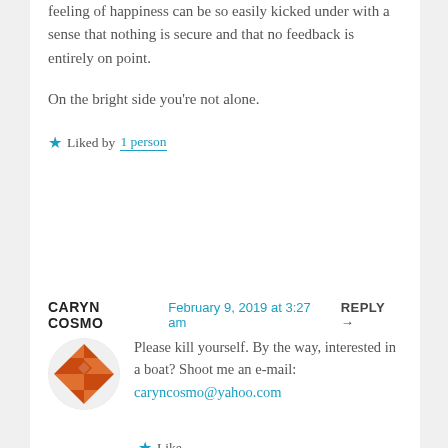feeling of happiness can be so easily kicked under with a sense that nothing is secure and that no feedback is entirely on point.
On the bright side you're not alone.
★ Liked by 1 person
CARYN COSMO  February 9, 2019 at 3:27 am  REPLY →
Please kill yourself. By the way, interested in a boat? Shoot me an e-mail: caryncosmo@yahoo.com
★ Like
JESSE SINCLAIR  February 10, 2019 at 5:24 am